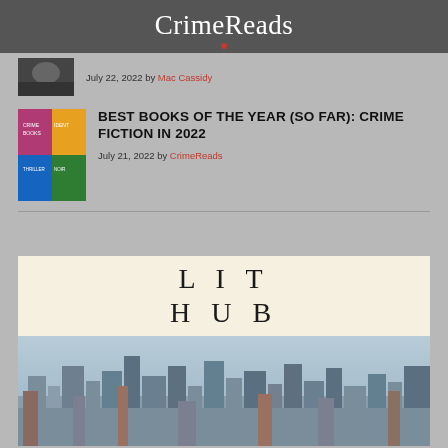CrimeReads
July 22, 2022 by Mac Cassidy
BEST BOOKS OF THE YEAR (SO FAR): CRIME FICTION IN 2022
July 21, 2022 by CrimeReads
[Figure (logo): Lit Hub logo with cream background and cityscape photo below]
LIT HUB